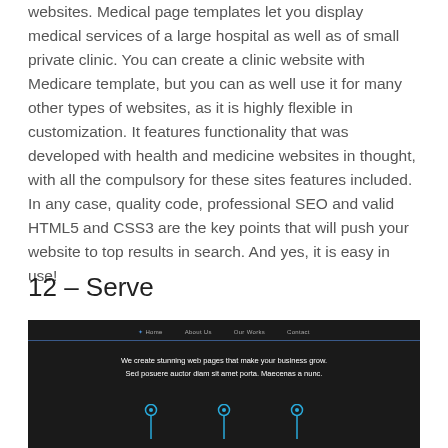websites. Medical page templates let you display medical services of a large hospital as well as of small private clinic. You can create a clinic website with Medicare template, but you can as well use it for many other types of websites, as it is highly flexible in customization. It features functionality that was developed with health and medicine websites in thought, with all the compulsory for these sites features included. In any case, quality code, professional SEO and valid HTML5 and CSS3 are the key points that will push your website to top results in search. And yes, it is easy in use!
12 – Serve
[Figure (screenshot): Dark-themed website screenshot showing navigation bar with Home, About Us, Our Works, Contact links, a tagline 'We create stunning web pages that make your business grow. Sed posuere auctor diam sit amet porta. Maecenas a nunc.' and three blue pin/location icons at the bottom.]